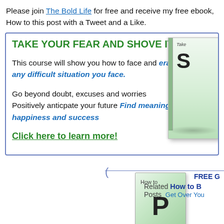Please join The Bold Life for free and receive my free ebook, How to this post with a Tweet and a Like.
TAKE YOUR FEAR AND SHOVE IT!
This course will show you how to face and erase fear in any difficult situation you face.
Go beyond doubt, excuses and worries Positively anticpate your future Find meaning, happiness and success
Click here to learn more!
[Figure (illustration): Book cover for Take Your Fear and Shove It course]
FREE G Related How to B Posts Get Over You